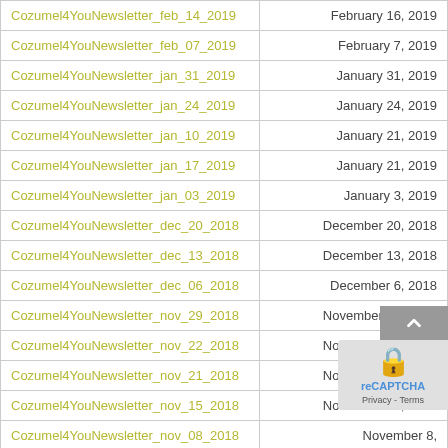| Name | Date |
| --- | --- |
| Cozumel4YouNewsletter_feb_14_2019 | February 16, 2019 |
| Cozumel4YouNewsletter_feb_07_2019 | February 7, 2019 |
| Cozumel4YouNewsletter_jan_31_2019 | January 31, 2019 |
| Cozumel4YouNewsletter_jan_24_2019 | January 24, 2019 |
| Cozumel4YouNewsletter_jan_10_2019 | January 21, 2019 |
| Cozumel4YouNewsletter_jan_17_2019 | January 21, 2019 |
| Cozumel4YouNewsletter_jan_03_2019 | January 3, 2019 |
| Cozumel4YouNewsletter_dec_20_2018 | December 20, 2018 |
| Cozumel4YouNewsletter_dec_13_2018 | December 13, 2018 |
| Cozumel4YouNewsletter_dec_06_2018 | December 6, 2018 |
| Cozumel4YouNewsletter_nov_29_2018 | November 29, 2018 |
| Cozumel4YouNewsletter_nov_22_2018 | November 22, 2018 |
| Cozumel4YouNewsletter_nov_21_2018 | November 22, 2018 |
| Cozumel4YouNewsletter_nov_15_2018 | November 15, 2018 |
| Cozumel4YouNewsletter_nov_08_2018 | November 8, … |
| Cozumel4YouNewsletter_nov_01_2018 | November 1, … |
| Cozumel4YouNewsletter_oct_25_2018 | October 25, 2018 |